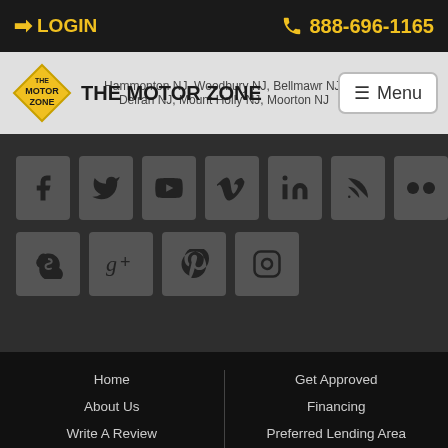LOGIN | 888-696-1165
[Figure (logo): The Motor Zone diamond logo with text THE MOTOR ZONE and navigation menu button]
[Figure (infographic): Social media icons grid: Facebook, Twitter, YouTube, Vimeo, LinkedIn, RSS, Flickr (row 1); Skype, Google+, Pinterest, Instagram (row 2)]
Home
About Us
Write A Review
Meet Our Team
Get Approved
Financing
Preferred Lending Area
Why Choose Us